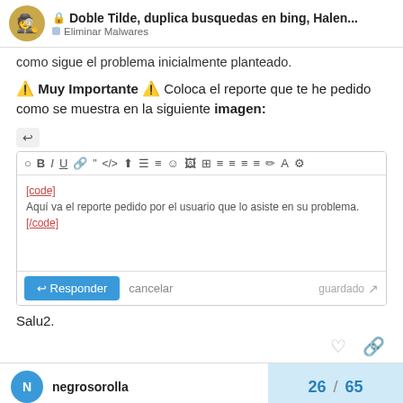🔒 Doble Tilde, duplica busquedas en bing, Halen... | Eliminar Malwares
como sigue el problema inicialmente planteado.
⚠️ Muy Importante ⚠️ Coloca el reporte que te he pedido como se muestra en la siguiente imagen:
[Figure (screenshot): Screenshot of a forum text editor reply box with toolbar (B, I, U, link, quote, code, upload, lists, emoji, image, table, alignment buttons), containing [code] placeholder text and Aquí va el reporte pedido por el usuario que lo asiste en su problema. [/code], with a blue Responder button, cancelar link, and guardado text at bottom right.]
Salu2.
26 / 65
negrosorolla